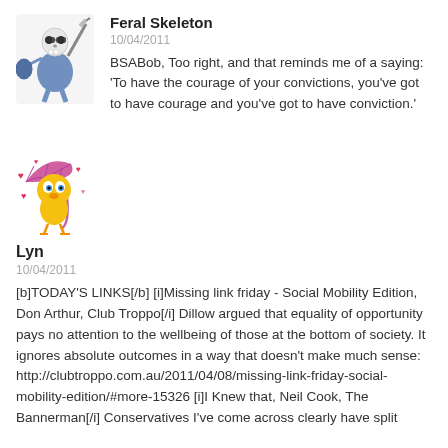[Figure (illustration): Avatar of Feral Skeleton: cartoon skeleton knight with sword and shield]
Feral Skeleton
10/04/2011
BSABob, Too right, and that reminds me of a saying: 'To have the courage of your convictions, you've got to have courage and you've got to have conviction.'
[Figure (illustration): Avatar of Lyn: cartoon Tweety bird with pink umbrella and hearts]
Lyn
10/04/2011
[b]TODAY'S LINKS[/b] [i]Missing link friday - Social Mobility Edition, Don Arthur, Club Troppo[/i] Dillow argued that equality of opportunity pays no attention to the wellbeing of those at the bottom of society. It ignores absolute outcomes in a way that doesn't make much sense: http://clubtroppo.com.au/2011/04/08/missing-link-friday-social-mobility-edition/#more-15326 [i]I Knew that, Neil Cook, The Bannerman[/i] Conservatives I've come across clearly have split